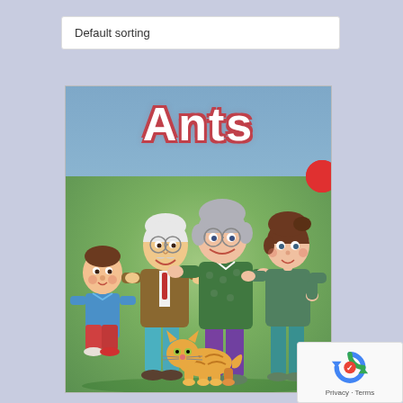Default sorting
[Figure (illustration): Book cover for 'Ants' showing animated cartoon characters: a young boy in blue top and red shorts, an elderly man in brown jacket, an elderly woman in green top and purple trousers, a girl in green t-shirt, and an orange striped cat. The title 'Ants' appears in large white letters with red outline on a blue background. A partially visible red circle appears at top right.]